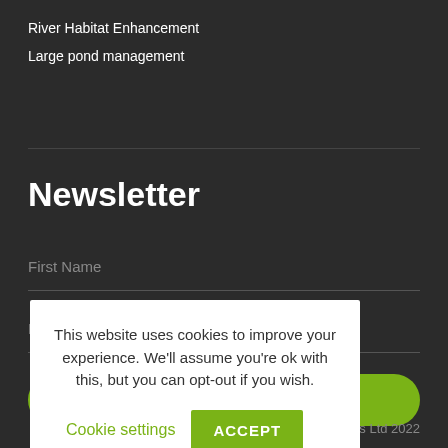River Habitat Enhancement
Large pond management
Newsletter
First Name
Email
[Figure (screenshot): Green rounded button (submit/subscribe button for newsletter form)]
This website uses cookies to improve your experience. We'll assume you're ok with this, but you can opt-out if you wish.  Cookie settings  ACCEPT
rscapes Ltd 2022